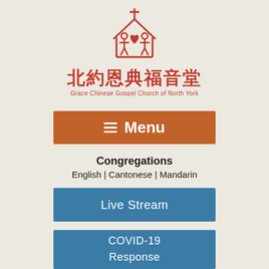[Figure (logo): Church logo: red outline of house/church with two figures and a heart, cross on top]
北約恩典福音堂
Grace Chinese Gospel Church of North York
[Figure (other): Orange-brown button with hamburger icon and text 'Menu']
Congregations
English | Cantonese | Mandarin
[Figure (other): Blue button with text 'Live Stream']
[Figure (other): Blue button with text 'COVID-19 Response']